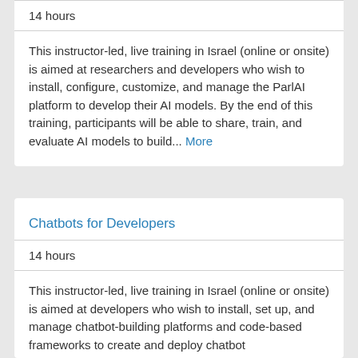14 hours
This instructor-led, live training in Israel (online or onsite) is aimed at researchers and developers who wish to install, configure, customize, and manage the ParlAI platform to develop their AI models. By the end of this training, participants will be able to share, train, and evaluate AI models to build... More
Chatbots for Developers
14 hours
This instructor-led, live training in Israel (online or onsite) is aimed at developers who wish to install, set up, and manage chatbot-building platforms and code-based frameworks to create and deploy chatbot